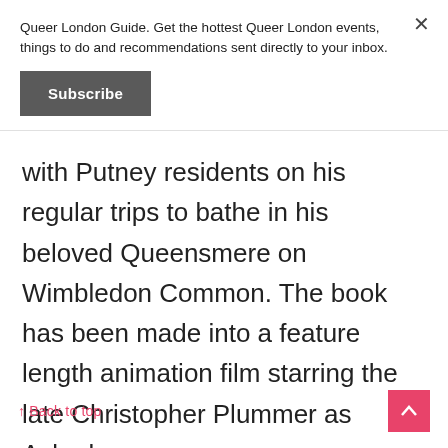Queer London Guide. Get the hottest Queer London events, things to do and recommendations sent directly to your inbox.
Subscribe
with Putney residents on his regular trips to bathe in his beloved Queensmere on Wimbledon Common. The book has been made into a feature length animation film starring the late Christopher Plummer as Ackerley.
↑ Back to top